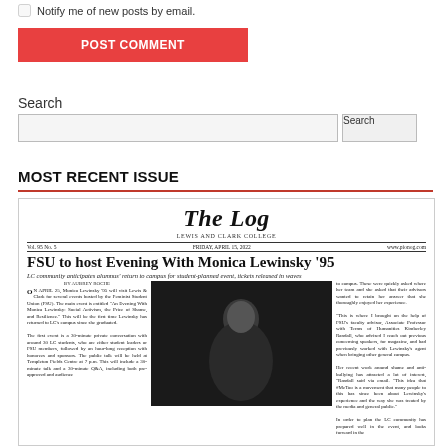Notify me of new posts by email.
POST COMMENT
Search
Search
MOST RECENT ISSUE
[Figure (screenshot): Newspaper front page of The Log, Lewis and Clark College. Vol. 95 No. 5, Friday, April 15, 2022. Headline: FSU to host Evening With Monica Lewinsky '95. Subheadline: LC community anticipates alumnus' return to campus for student-planned event, tickets released in waves. Contains article text and a photo of Monica Lewinsky.]